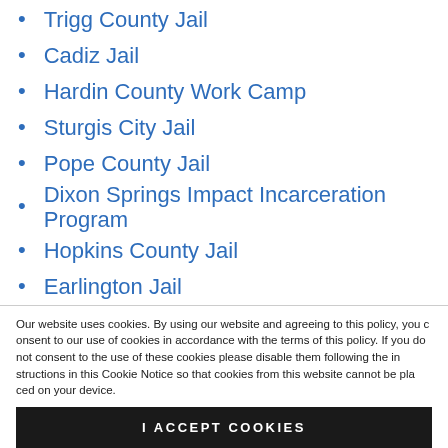Trigg County Jail
Cadiz Jail
Hardin County Work Camp
Sturgis City Jail
Pope County Jail
Dixon Springs Impact Incarceration Program
Hopkins County Jail
Earlington Jail
McCracken County Regional Jail
Paducah City Jail
Mortons Gap City Jail
Madisonville Jail
Our website uses cookies. By using our website and agreeing to this policy, you consent to our use of cookies in accordance with the terms of this policy. If you do not consent to the use of these cookies please disable them following the instructions in this Cookie Notice so that cookies from this website cannot be placed on your device.
I ACCEPT COOKIES